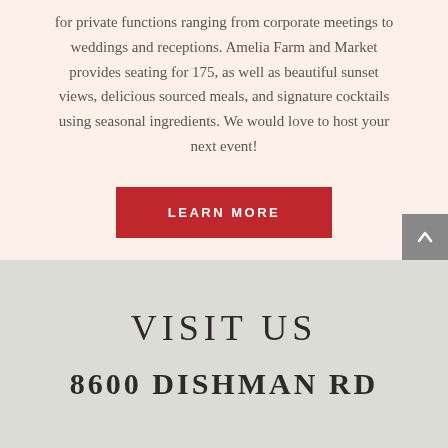for private functions ranging from corporate meetings to weddings and receptions. Amelia Farm and Market provides seating for 175, as well as beautiful sunset views, delicious sourced meals, and signature cocktails using seasonal ingredients. We would love to host your next event!
LEARN MORE
VISIT US
8600 DISHMAN RD